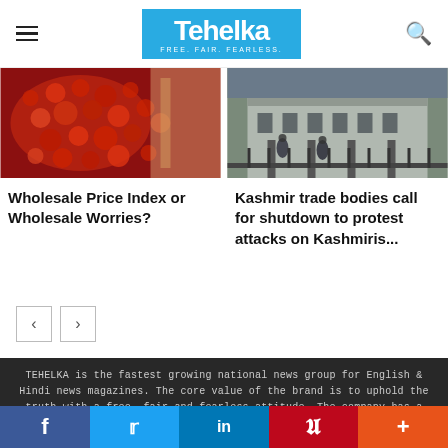Tehelka — FREE. FAIR. FEARLESS.
[Figure (photo): Photo of red berries/coffee cherries in a basket]
[Figure (photo): Photo of people/guards in front of a building in Kashmir]
Wholesale Price Index or Wholesale Worries?
Kashmir trade bodies call for shutdown to protest attacks on Kashmiris...
TEHELKA is the fastest growing national news group for English & Hindi news magazines. The core value of the brand is to uphold the truth with a free, fair and fearless attitude. The company has a high standard of excellence in journalism and a
f  t  in  P  +